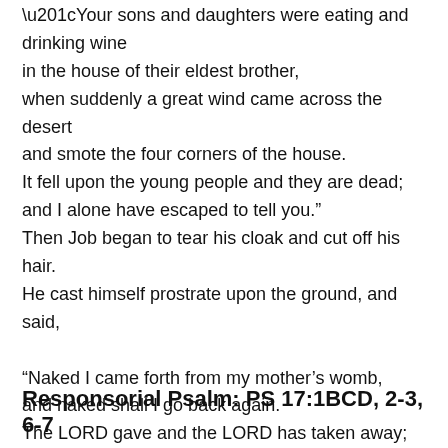“Your sons and daughters were eating and drinking wine
in the house of their eldest brother,
when suddenly a great wind came across the desert
and smote the four corners of the house.
It fell upon the young people and they are dead;
and I alone have escaped to tell you.”
Then Job began to tear his cloak and cut off his hair.
He cast himself prostrate upon the ground, and said,

“Naked I came forth from my mother’s womb,
and naked shall I go back again.
The LORD gave and the LORD has taken away;
blessed be the name of the LORD!”

In all this Job did not sin,
nor did he say anything disrespectful of God.
Responsorial Psalm: PS 17:1BCD, 2-3, 6-7